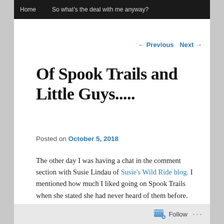Home    So what's the deal with me anyway?
← Previous    Next →
Of Spook Trails and Little Guys.....
Posted on October 5, 2018
The other day I was having a chat in the comment section with Susie Lindau of Susie's Wild Ride blog. I mentioned how much I liked going on Spook Trails when she stated she had never heard of them before. That gave me the idea for this blog.
If you haven't been on one of these trails you should find
Follow